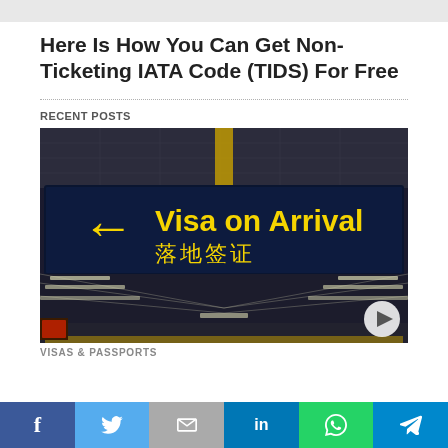Here Is How You Can Get Non-Ticketing IATA Code (TIDS) For Free
RECENT POSTS
[Figure (photo): Airport interior showing a 'Visa on Arrival / 落地签证' sign with a yellow left-pointing arrow on a dark navy background, with perspective view of terminal ceiling with fluorescent lights]
VISAS & PASSPORTS